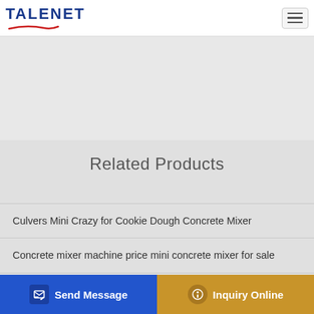TALENET
[Figure (other): Gray banner/advertisement area below header]
Related Products
Culvers Mini Crazy for Cookie Dough Concrete Mixer
Concrete mixer machine price mini concrete mixer for sale
15 BEST Concrete Pumping in Upper Caboolture QLD
Concrete mixer Export data of China